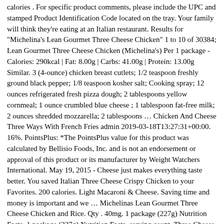calories . For specific product comments, please include the UPC and stamped Product Identification Code located on the tray. Your family will think they're eating at an Italian restaurant. Results for "Michelina's Lean Gourmet Three Cheese Chicken" 1 to 10 of 30384; Lean Gourmet Three Cheese Chicken (Michelina's) Per 1 package - Calories: 290kcal | Fat: 8.00g | Carbs: 41.00g | Protein: 13.00g Similar. 3 (4-ounce) chicken breast cutlets; 1/2 teaspoon freshly ground black pepper; 1/8 teaspoon kosher salt; Cooking spray; 12 ounces refrigerated fresh pizza dough; 2 tablespoons yellow cornmeal; 1 ounce crumbled blue cheese ; 1 tablespoon fat-free milk; 2 ounces shredded mozzarella; 2 tablespoons … Chicken And Cheese Three Ways With French Fries admin 2019-03-18T13:27:31+00:00. 16%. PointsPlus: *The PointsPlus value for this product was calculated by Bellisio Foods, Inc. and is not an endorsement or approval of this product or its manufacturer by Weight Watchers International. May 19, 2015 - Cheese just makes everything taste better. You saved Italian Three Cheese Crispy Chicken to your Favorites. 200 calories. Light Macaroni & Cheese. Saving time and money is important and we … Michelinas Lean Gourmet Three Cheese Chicken and Rice. Qty . 40mg. 1 package (227g) Nutrition Facts. 1 package (227g) Nutrition Facts. serving count. Three Cheese Chicken. BEST ENJOYED. Find calories, carbs, and nutritional contents for michelinas lean-gourmet-cheesy-chicken-ranch and over 2,000,000 other foods at MyFitnessPal.com. 10%. Daily Goals. Buitoni Three Cheese Tortellini Refrigerated Pasta, 9 oz; Chicken; Chicken with ...